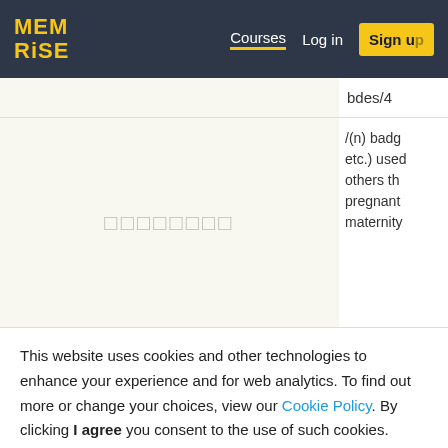MEM RISE | Courses | Log in | Sign up
bdes/4
□□□□□□□□
/(n) badge (etc.) used others th pregnant maternity
(n) (abbr discrimina discrimina pregnant women/d employee are preg
This website uses cookies and other technologies to enhance your experience and for web analytics. To find out more or change your choices, view our Cookie Policy. By clicking I agree you consent to the use of such cookies.
I agree
(n) mata freshwat imbriata